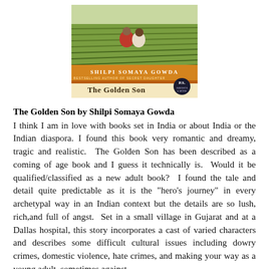[Figure (photo): Book cover of 'The Golden Son' by Shilpi Somaya Gowda. Shows two people sitting together looking out over terraced green fields. Orange and gold decorative border with author name. Bestselling author of Secret Daughter. P.S. badge in bottom right corner.]
The Golden Son by Shilpi Somaya Gowda
I think I am in love with books set in India or about India or the Indian diaspora. I found this book very romantic and dreamy, tragic and realistic.  The Golden Son has been described as a coming of age book and I guess it technically is.  Would it be qualified/classified as a new adult book?  I found the tale and detail quite predictable as it is the "hero's journey" in every archetypal way in an Indian context but the details are so lush, rich,and full of angst.  Set in a small village in Gujarat and at a Dallas hospital, this story incorporates a cast of varied characters and describes some difficult cultural issues including dowry crimes, domestic violence, hate crimes, and making your way as a young adult, sometimes against